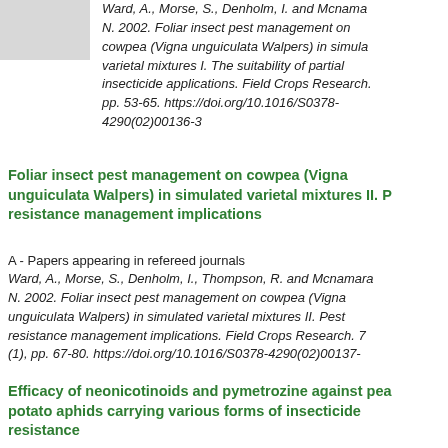[Figure (illustration): Small thumbnail image in top-left corner]
Ward, A., Morse, S., Denholm, I. and Mcnama N. 2002. Foliar insect pest management on cowpea (Vigna unguiculata Walpers) in simula varietal mixtures I. The suitability of partial insecticide applications. Field Crops Research. pp. 53-65. https://doi.org/10.1016/S0378-4290(02)00136-3
Foliar insect pest management on cowpea (Vigna unguiculata Walpers) in simulated varietal mixtures II. P resistance management implications
A - Papers appearing in refereed journals
Ward, A., Morse, S., Denholm, I., Thompson, R. and Mcnamara N. 2002. Foliar insect pest management on cowpea (Vigna unguiculata Walpers) in simulated varietal mixtures II. Pest resistance management implications. Field Crops Research. 7 (1), pp. 67-80. https://doi.org/10.1016/S0378-4290(02)00137-
Efficacy of neonicotinoids and pymetrozine against pea potato aphids carrying various forms of insecticide resistance